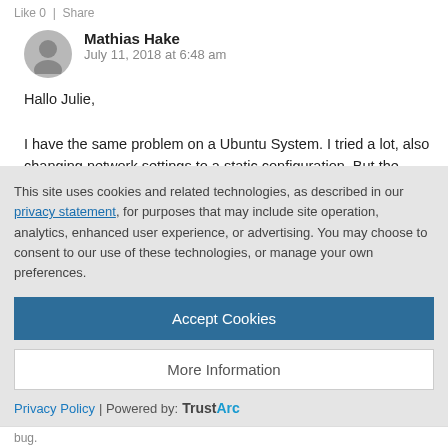Like 0 | Share
Mathias Hake
July 11, 2018 at 6:48 am
Hallo Julie,

I have the same problem on a Ubuntu System. I tried a lot, also changing network settings to a static configuration. But the message is always the same... did you find out any other reasons?
This site uses cookies and related technologies, as described in our privacy statement, for purposes that may include site operation, analytics, enhanced user experience, or advertising. You may choose to consent to our use of these technologies, or manage your own preferences.
Accept Cookies
More Information
Privacy Policy | Powered by: TrustArc